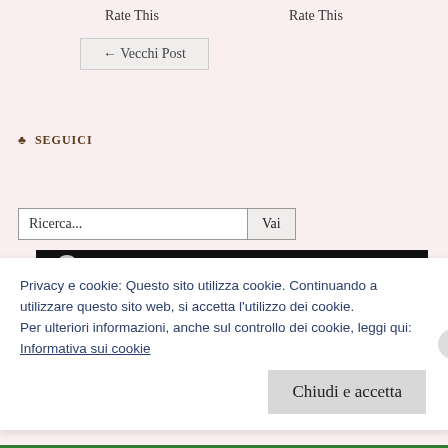Rate This
Rate This
← Vecchi Post
♣ SEGUICI
Ricerca...
[Figure (screenshot): Black bar with partial circular avatar icon visible]
Privacy e cookie: Questo sito utilizza cookie. Continuando a utilizzare questo sito web, si accetta l'utilizzo dei cookie. Per ulteriori informazioni, anche sul controllo dei cookie, leggi qui: Informativa sui cookie
Chiudi e accetta